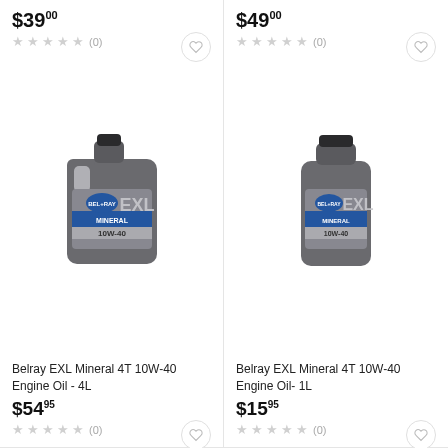$39.00
★★★★★ (0)
[Figure (photo): Bel-Ray EXL Mineral 4T 10W-40 Engine Oil 4L grey bottle]
Belray EXL Mineral 4T 10W-40 Engine Oil - 4L
$54.95
★★★★★ (0)
$49.00
★★★★★ (0)
[Figure (photo): Bel-Ray EXL Mineral 4T 10W-40 Engine Oil 1L grey bottle]
Belray EXL Mineral 4T 10W-40 Engine Oil- 1L
$15.95
★★★★★ (0)